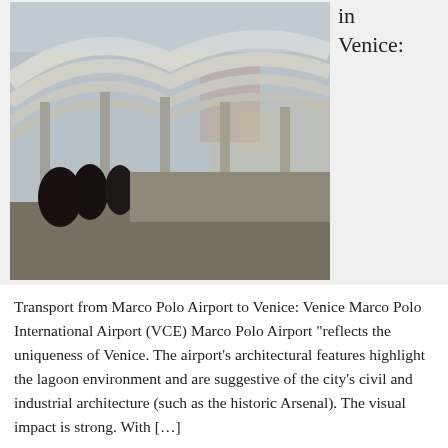[Figure (photo): Photo of Marco Polo Airport in Venice showing covered walkway with arched roof structure and passengers]
in
Venice:
Transport from Marco Polo Airport to Venice: Venice Marco Polo International Airport (VCE) Marco Polo Airport “reflects the uniqueness of Venice. The airport’s architectural features highlight the lagoon environment and are suggestive of the city’s civil and industrial architecture (such as the historic Arsenal). The visual impact is strong. With […]
Filed Under: Getting around
Tagged With: buses, Gesolo, hotel, Italy, Jesolo, Marco Polo Airport, Mestre, Piazzale Roma, public transport, train, transfer,